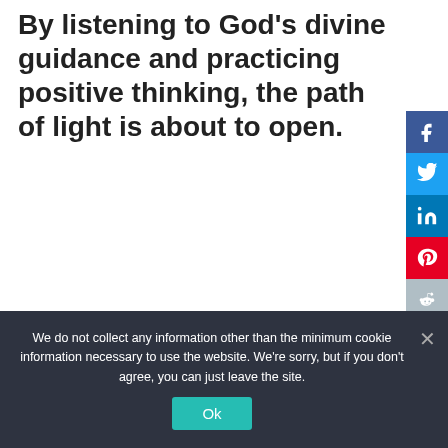By listening to God's divine guidance and practicing positive thinking, the path of light is about to open.
[Figure (infographic): Social media sharing sidebar with Facebook, Twitter, LinkedIn, Pinterest, and Reddit buttons]
We do not collect any information other than the minimum cookie information necessary to use the website. We're sorry, but if you don't agree, you can just leave the site.
Ok